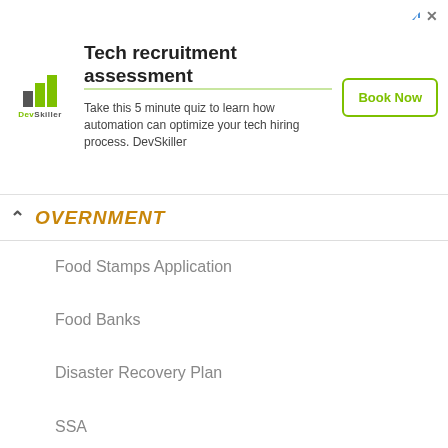[Figure (infographic): DevSkiller advertisement banner: logo with bar chart icon, headline 'Tech recruitment assessment', body text 'Take this 5 minute quiz to learn how automation can optimize your tech hiring process. DevSkiller', and 'Book Now' button]
OVERNMENT
Food Stamps Application
Food Banks
Disaster Recovery Plan
SSA
SSI Disability
SS Disabilities
Small Claims Courts